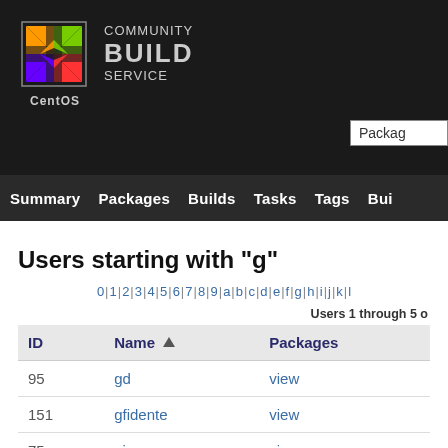CentOS Community Build Service
Users starting with "g"
0 | 1 | 2 | 3 | 4 | 5 | 6 | 7 | 8 | 9 | a | b | c | d | e | f | g | h | i | j | k | l
Users 1 through 5 of 5
| ID | Name ▲ | Packages |
| --- | --- | --- |
| 95 | gd | view |
| 151 | gfidente | view |
| 75 | giuseppe | view |
| 62 | goern | view |
| 19 | gwd | view |
Users 1 through 5 of 5